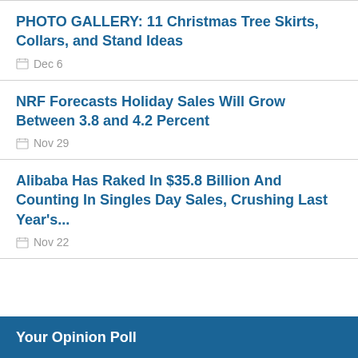PHOTO GALLERY: 11 Christmas Tree Skirts, Collars, and Stand Ideas — Dec 6
NRF Forecasts Holiday Sales Will Grow Between 3.8 and 4.2 Percent — Nov 29
Alibaba Has Raked In $35.8 Billion And Counting In Singles Day Sales, Crushing Last Year's... — Nov 22
Your Opinion Poll